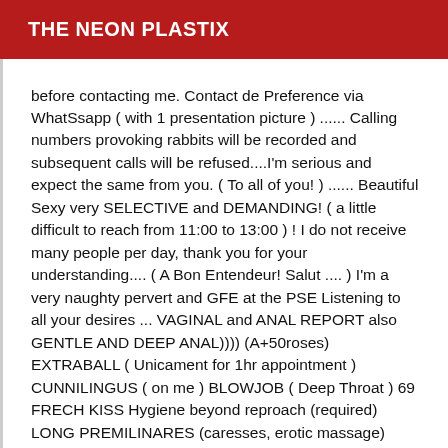THE NEON PLASTIX
before contacting me. Contact de Preference via WhatSsapp ( with 1 presentation picture ) ...... Calling numbers provoking rabbits will be recorded and subsequent calls will be refused....I'm serious and expect the same from you. ( To all of you! ) ...... Beautiful Sexy very SELECTIVE and DEMANDING! ( a little difficult to reach from 11:00 to 13:00 ) ! I do not receive many people per day, thank you for your understanding.... ( A Bon Entendeur! Salut .... ) I'm a very naughty pervert and GFE at the PSE Listening to all your desires ... VAGINAL and ANAL REPORT also GENTLE AND DEEP ANAL)))) (A+50roses) EXTRABALL ( Unicament for 1hr appointment ) CUNNILINGUS ( on me ) BLOWJOB ( Deep Throat ) 69 FRECH KISS Hygiene beyond reproach (required) LONG PREMILINARES (caresses, erotic massage) DOMINATION SOF ( Dildo belt + sex toys) If you like we